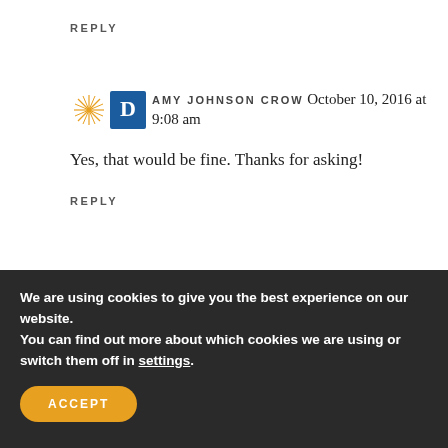REPLY
AMY JOHNSON CROW October 10, 2016 at 9:08 am
Yes, that would be fine. Thanks for asking!
REPLY
We are using cookies to give you the best experience on our website.
You can find out more about which cookies we are using or switch them off in settings.
ACCEPT